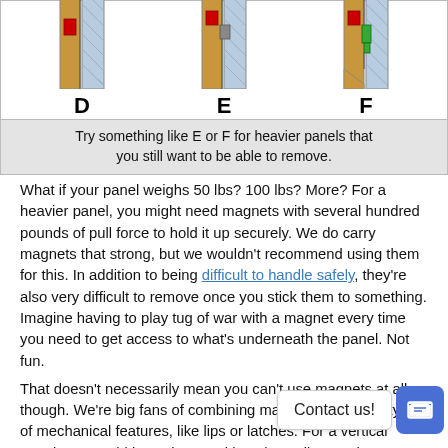[Figure (engineering-diagram): Three engineering diagrams labeled D, E, and F showing different magnet and panel mounting configurations. Each shows a cross-section of a panel against a wall with magnets in different arrangements.]
Try something like E or F for heavier panels that you still want to be able to remove.
What if your panel weighs 50 lbs? 100 lbs? More? For a heavier panel, you might need magnets with several hundred pounds of pull force to hold it up securely. We do carry magnets that strong, but we wouldn't recommend using them for this. In addition to being difficult to handle safely, they're also very difficult to remove once you stick them to something. Imagine having to play tug of war with a magnet every time you need to get access to what's underneath the panel. Not fun.
That doesn't necessarily mean you can't use magnets at all, though. We're big fans of combining magnets with other types of mechanical features, like lips or latches. For a vertical panel, you could inset the panel into the wall, or make a permanent ledge for the panel to rest on. Instead of holding the entire weight of the panel, the magnet just has to keep the panel from tipping over. That means you can use magnets that are weaker and easier to remove, which is no longer a problem.